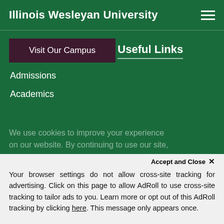Illinois Wesleyan University
Visit Our Campus
Useful Links
Admissions
Academics
We use cookies to improve your experience on our website. By continuing to use our site,
Accept and Close ✕
Your browser settings do not allow cross-site tracking for advertising. Click on this page to allow AdRoll to use cross-site tracking to tailor ads to you. Learn more or opt out of this AdRoll tracking by clicking here. This message only appears once.